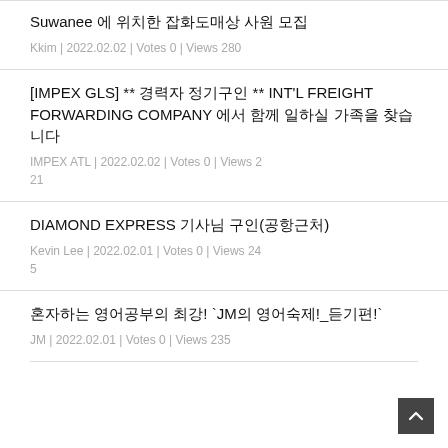Suwanee 에 위치한 잡화도매상 사원 모집
[IMPEX GLS] ** 경력자 정기구인 ** INT'L FREIGHT FORWARDING COMPANY 에서 함께 일하실 가족을 찾습니다
DIAMOND EXPRESS 기사님 구인(공항근처)
혼자하는 영어공부의 최강! `JM의 영어숙제!_듣기편!`